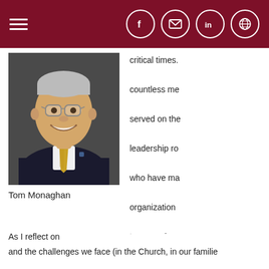Navigation header with hamburger menu and social icons (Facebook, Email, LinkedIn, Globe)
[Figure (photo): Headshot of Tom Monaghan, an older man wearing glasses, a dark suit, white shirt, and gold striped tie, smiling at the camera against a dark background.]
Tom Monaghan
critical times. countless me served on the leadership ro who have ma organization to recognize present, who as a job, but a
As I reflect on and the challenges we face (in the Church, in our familie
and the challenges we face (in the Church, in our families,